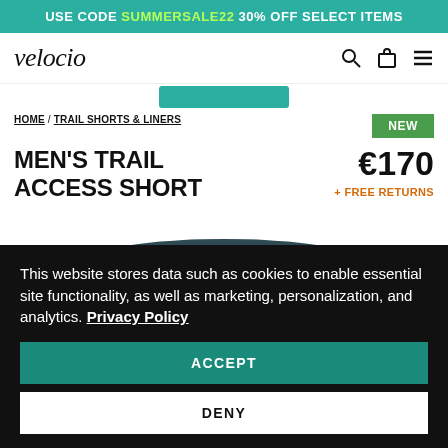USE CODE SUMMERSALE22 30% OFF SELECT ITEMS
[Figure (logo): Velocio logo - stylized italic text]
HOME / TRAIL SHORTS & LINERS
NEW
MEN'S TRAIL ACCESS SHORT
€170
+ FREE RETURNS
[Figure (photo): Partial product image showing top of dark teal trail shorts]
This website stores data such as cookies to enable essential site functionality, as well as marketing, personalization, and analytics. Privacy Policy
ACCEPT
DENY